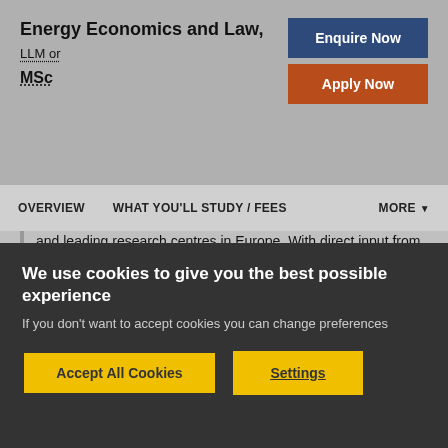Energy Economics and Law, LLM or MSc
and leading research centres in Europe. With direct input from these key players and other guest lecturers from international academic and policy-making institutions, our programme stays relevant in a rapidly changing world. Many courses are taught by practitioners and leading industry experts so you will benefit from practical real life insights into the industry.
We use cookies to give you the best possible experience
If you don't want to accept cookies you can change preferences